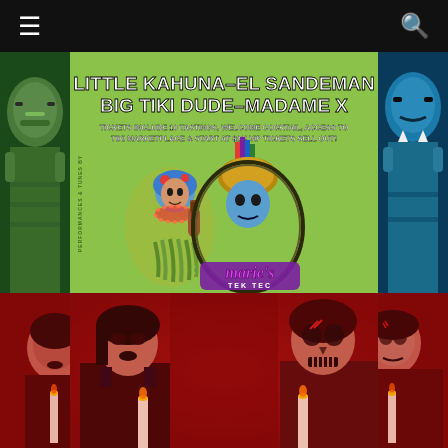Navigation bar with hamburger menu and search icon
[Figure (illustration): Colorful tiki-themed event poster with green background featuring cartoon hula girl with blue hair playing ukulele, aztec deity figure in center, tiki statues on sides. Text reads: LITTLE KAHUNA-EL SANDEMAN / BIG TIKI DUDE-MADAME X / TICKETS INCLUDE 10 TASTINGS, WELCOME COCKTAIL, ACCESS TO TIKI MARKETPLACE & START AT $20! VIP TICKETS SELL OUT! / Marie's TEK TEC logo at bottom.]
[Figure (photo): Dark red-lit photo showing two people in Halloween/Day of the Dead makeup holding candles. One person on left in dark clothing with dark lipstick, person on right with skull face paint.]